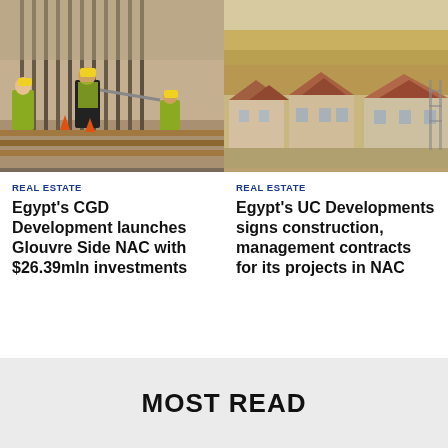[Figure (photo): Construction workers in yellow hard hats and safety vests working among vertical steel rebar rods at a construction site]
[Figure (photo): Partially constructed residential villas with terracotta roofs in front of a sandy hill/quarry in Egypt]
REAL ESTATE
Egypt's CGD Development launches Glouvre Side NAC with $26.39mln investments
REAL ESTATE
Egypt's UC Developments signs construction, management contracts for its projects in NAC
MOST READ